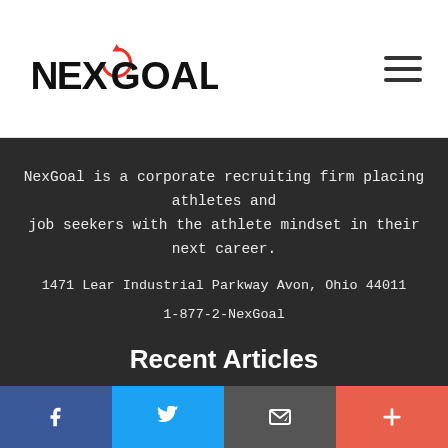NexGoal logo and navigation
NexGoal is a corporate recruiting firm placing athletes and job seekers with the athlete mindset in their next career.
1471 Lear Industrial Parkway Avon, Ohio 44011
1-877-2-NexGoal
Recent Articles
Curating Your Social Media As A Job Seeker
Facebook | Twitter | Email | Plus social share buttons